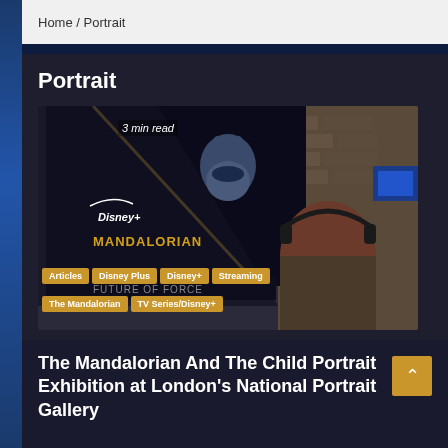Home / Portrait
Portrait
[Figure (photo): A person viewing a large display showing The Mandalorian Disney+ promotional artwork. The display shows a character in Mandalorian armor with 'Disney+' and 'Mandalorian' text. Tags overlay the image: Articles, Disney Plus, Disney+, Streaming, The Mandalorian, TV Series/Disney+. A '3 min read' label appears at top left.]
The Mandalorian And The Child Portrait Exhibition at London's National Portrait Gallery